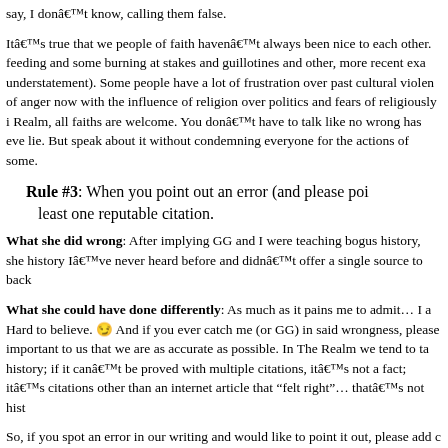say, I donâ€™t know, calling them false.
Itâ€™s true that we people of faith havenâ€™t always been nice to each other. feeding and some burning at stakes and guillotines and other, more recent exa understatement). Some people have a lot of frustration over past cultural violen of anger now with the influence of religion over politics and fears of religiously i Realm, all faiths are welcome. You donâ€™t have to talk like no wrong has eve lie. But speak about it without condemning everyone for the actions of some.
Rule #3: When you point out an error (and please poi least one reputable citation.
What she did wrong: After implying GG and I were teaching bogus history, she history Iâ€™ve never heard before and didnâ€™t offer a single source to back
What she could have done differently: As much as it pains me to admit… I a Hard to believe. 😏 And if you ever catch me (or GG) in said wrongness, please important to us that we are as accurate as possible. In The Realm we tend to ta history; if it canâ€™t be proved with multiple citations, itâ€™s not a fact; itâ€™s citations other than an internet article that â€œfelt rightâ€… thatâ€™s not hist
So, if you spot an error in our writing and would like to point it out, please add c when we post a correction, we now have a citation to include in the post. It also diligence on claims made by other people. Itâ€™s not that we donâ€™t want to crazy interwebs and we all know how misinformation gets spread by well-mean unfortunately rife with mistaken histories, and we at The Pagan Princesses str